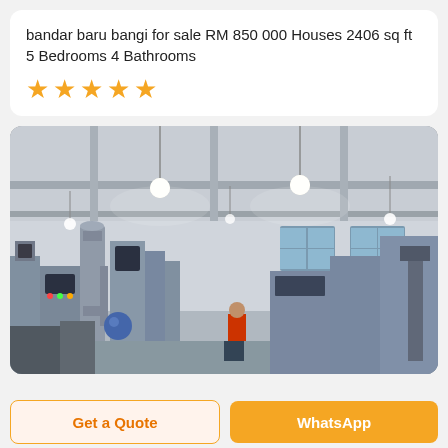bandar baru bangi for sale RM 850 000 Houses 2406 sq ft 5 Bedrooms 4 Bathrooms
[Figure (other): Five orange star rating icons]
[Figure (photo): Interior of a factory or industrial facility with heavy machinery, equipment, overhead lighting, and a worker in a red jacket visible in the center background]
Get a Quote
WhatsApp